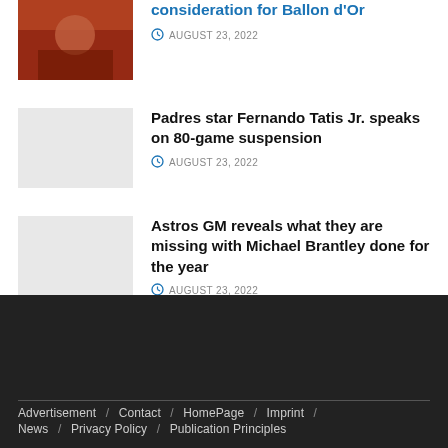[Figure (photo): Partial photo thumbnail, sports/action image]
consideration for Ballon d'Or
AUGUST 23, 2022
[Figure (photo): Light gray placeholder thumbnail]
Padres star Fernando Tatis Jr. speaks on 80-game suspension
AUGUST 23, 2022
[Figure (photo): Light gray placeholder thumbnail]
Astros GM reveals what they are missing with Michael Brantley done for the year
AUGUST 23, 2022
Advertisement / Contact / HomePage / Imprint / News / Privacy Policy / Publication Principles